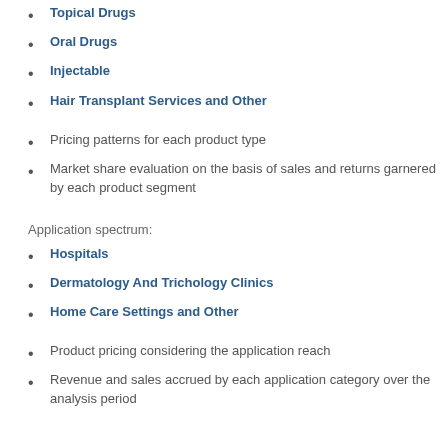Topical Drugs
Oral Drugs
Injectable
Hair Transplant Services and Other
Pricing patterns for each product type
Market share evaluation on the basis of sales and returns garnered by each product segment
Application spectrum:
Hospitals
Dermatology And Trichology Clinics
Home Care Settings and Other
Product pricing considering the application reach
Revenue and sales accrued by each application category over the analysis period